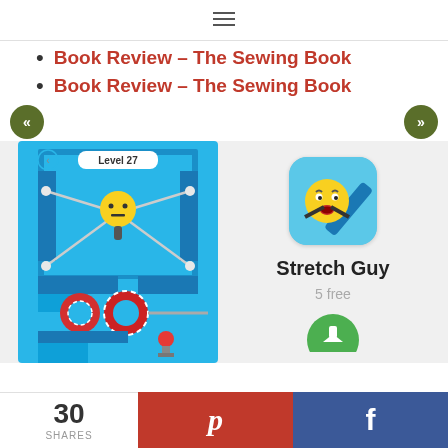≡ (hamburger menu icon)
Book Review – The Sewing Book
Book Review – The Sewing Book
[Figure (screenshot): Navigation buttons: left arrow (<<) and right arrow (>>), both dark green circles]
[Figure (screenshot): Stretch Guy mobile game screenshot showing Level 27 with a yellow ball character stretching between walls, red gear obstacles, and a red ball below]
[Figure (screenshot): Stretch Guy app icon: cyan/blue rounded square with yellow emoji face and dark outstretched arms]
Stretch Guy
5 free
[Figure (illustration): Green circular download button (partially visible)]
30 SHARES | Pinterest share button | Facebook share button